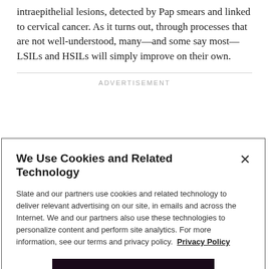intraepithelial lesions, detected by Pap smears and linked to cervical cancer. As it turns out, through processes that are not well-understood, many—and some say most—LSILs and HSILs will simply improve on their own.
ADVERTISEMENT
We Use Cookies and Related Technology
Slate and our partners use cookies and related technology to deliver relevant advertising on our site, in emails and across the Internet. We and our partners also use these technologies to personalize content and perform site analytics. For more information, see our terms and privacy policy. Privacy Policy
OK